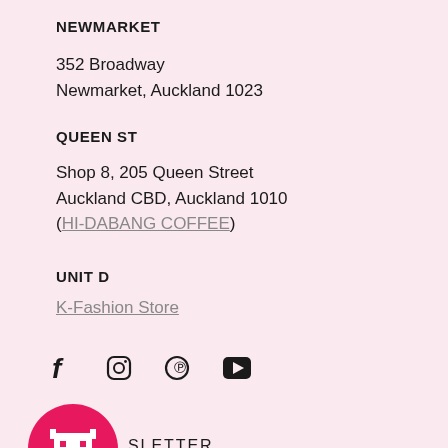NEWMARKET
352 Broadway
Newmarket, Auckland 1023
QUEEN ST
Shop 8, 205 Queen Street
Auckland CBD, Auckland 1010
(HI-DABANG COFFEE)
UNIT D
K-Fashion Store
[Figure (illustration): Social media icons: Facebook, Instagram, Pinterest, YouTube]
[Figure (logo): Pink circle with pixel rabbit/character logo, newsletter icon]
SLETTER
Subscribe to receive updates, access to exclusive